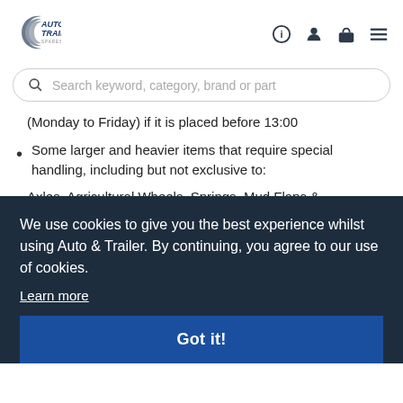[Figure (logo): Auto & Trailer Spares Limited logo with wheel/tyre graphic]
Search keyword, category, brand or part
(Monday to Friday) if it is placed before 13:00
Some larger and heavier items that require special handling, including but not exclusive to:
Axles, Agricultural Wheels, Springs, Mud Flaps & ... handling ... additional
We use cookies to give you the best experience whilst using Auto & Trailer. By continuing, you agree to our use of cookies.
Learn more
Got it!
Some items that require multiple deliveries may incur an additional charge ... toolboxes as they will not qualify for free delivery and will incur an additional charge which will be calculated